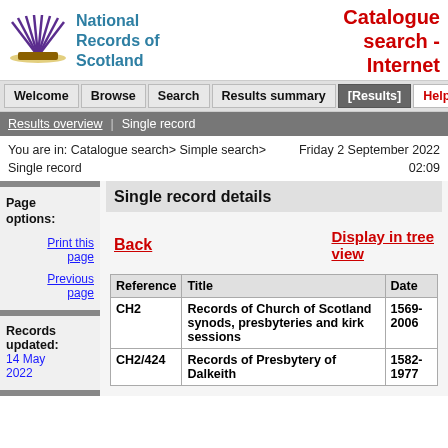National Records of Scotland — Catalogue search - Internet
Welcome | Browse | Search | Results summary | [Results] | Help
Results overview | Single record
You are in: Catalogue search> Simple search> Single record	Friday 2 September 2022 02:09
Single record details
Back
Display in tree view
Page options:
Print this page
Previous page
Records updated:
14 May 2022
| Reference | Title | Date |
| --- | --- | --- |
| CH2 | Records of Church of Scotland synods, presbyteries and kirk sessions | 1569-2006 |
| CH2/424 | Records of Presbytery of Dalkeith | 1582-1977 |